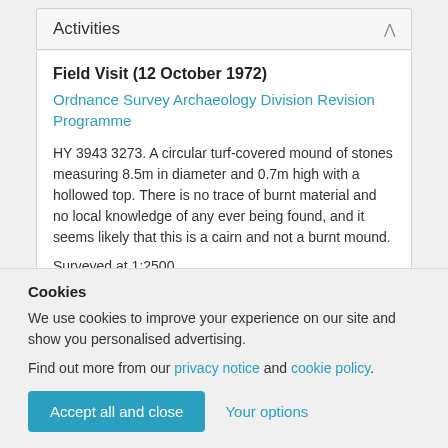Activities
Field Visit (12 October 1972)
Ordnance Survey Archaeology Division Revision Programme
HY 3943 3273. A circular turf-covered mound of stones measuring 8.5m in diameter and 0.7m high with a hollowed top. There is no trace of burnt material and no local knowledge of any ever being found, and it seems likely that this is a cairn and not a burnt mound.
Surveyed at 1:2500.
Cookies
We use cookies to improve your experience on our site and show you personalised advertising.
Find out more from our privacy notice and cookie policy.